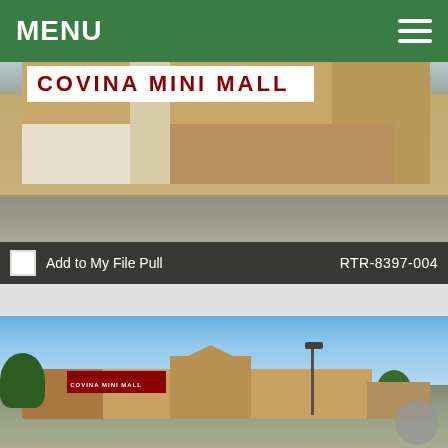MENU
[Figure (photo): Street-level photo of Covina Mini Mall storefront showing tan/beige building facade with large red text sign reading 'COVINA MINI MALL', white pillar, darkened storefronts, and empty parking lot in foreground]
Add to My File Pull    RTR-8397-004
[Figure (photo): Wide-angle photo of Covina Mini Mall exterior showing the full building complex with blue sky, parking lot, light pole, trees on left, and a circular navigation badge in bottom right corner]